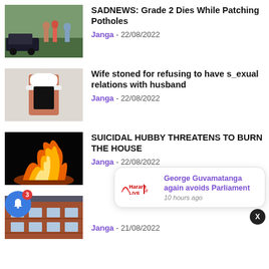[Figure (photo): People standing near a car on a road, outdoor scene]
SADNEWS: Grade 2 Dies While Patching Potholes
Janga - 22/08/2022
[Figure (photo): Person wearing a white hat and black tank top]
Wife stoned for refusing to have s_exual relations with husband
Janga - 22/08/2022
[Figure (photo): Large fire burning against a black background]
SUICIDAL HUBBY THREATENS TO BURN THE HOUSE
Janga - 22/08/2022
[Figure (photo): Red brick building exterior, partial view]
Janga - 21/08/2022
[Figure (screenshot): Notification popup: George Guvamatanga again avoids Parliament - 10 hours ago, HarareLive logo]